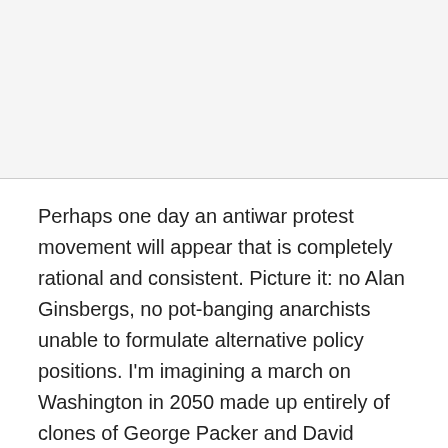Perhaps one day an antiwar protest movement will appear that is completely rational and consistent. Picture it: no Alan Ginsbergs, no pot-banging anarchists unable to formulate alternative policy positions. I'm imagining a march on Washington in 2050 made up entirely of clones of George Packer and David Gergen.
Until then, it's worth remembering the example of union